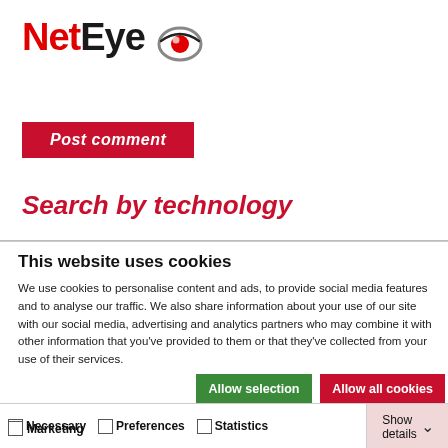[Figure (logo): NetEye logo with red 'Net' text, black 'Eye' text, and a stylized eye icon in red and grey]
[Figure (screenshot): Partially visible red 'Post Comment' button]
Search by technology
This website uses cookies
We use cookies to personalise content and ads, to provide social media features and to analyse our traffic. We also share information about your use of our site with our social media, advertising and analytics partners who may combine it with other information that you've provided to them or that they've collected from your use of their services.
Allow selection | Allow all cookies
Necessary  Preferences  Statistics  Marketing  Show details